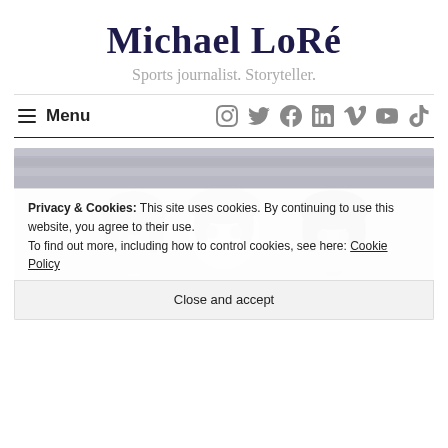Michael LoRé
Sports journalist. Storyteller.
≡ Menu [social icons: Instagram, Twitter, Facebook, LinkedIn, Vimeo, YouTube, TikTok]
[Figure (photo): Three women athletes looking directly at the camera in a stadium setting, black and white/desaturated photo]
Privacy & Cookies: This site uses cookies. By continuing to use this website, you agree to their use.
To find out more, including how to control cookies, see here: Cookie Policy
Close and accept